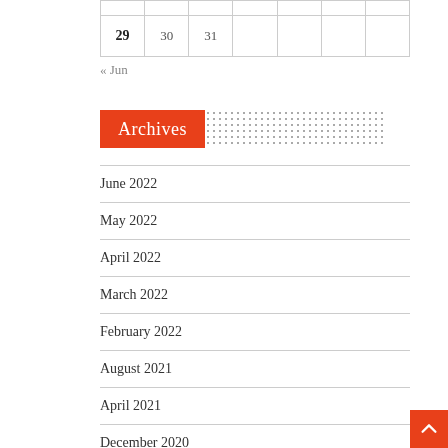|  |  |  |  |  |  |  |
| 29 | 30 | 31 |  |  |  |  |
« Jun
Archives
June 2022
May 2022
April 2022
March 2022
February 2022
August 2021
April 2021
December 2020